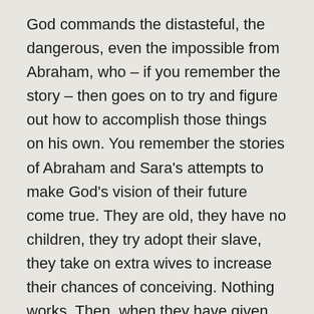God commands the distasteful, the dangerous, even the impossible from Abraham, who – if you remember the story – then goes on to try and figure out how to accomplish those things on his own. You remember the stories of Abraham and Sara's attempts to make God's vision of their future come true. They are old, they have no children, they try adopt their slave, they take on extra wives to increase their chances of conceiving. Nothing works. Then, when they have given up any hope of being able to do what God has commanded, God provides for the couple what God had commanded from them.
There's something frustrating, even irritating, about this story. Why does God ask the